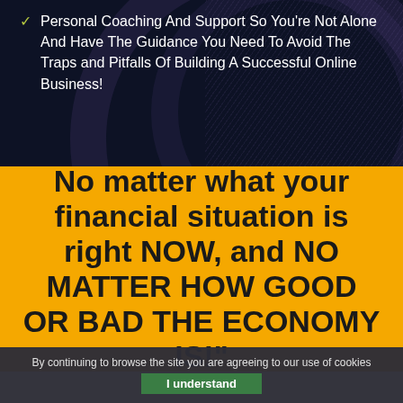Personal Coaching And Support So You're Not Alone And Have The Guidance You Need To Avoid The Traps and Pitfalls Of Building A Successful Online Business!
No matter what your financial situation is right NOW, and NO MATTER HOW GOOD OR BAD THE ECONOMY IS!"
By continuing to browse the site you are agreeing to our use of cookies
I understand